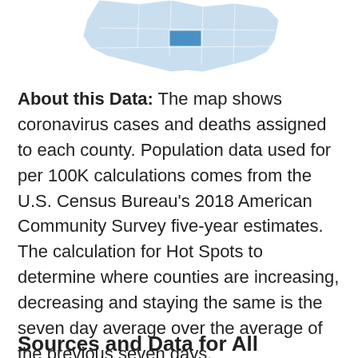[Figure (map): Partial view of a county-level choropleth map showing coronavirus data, with light blue shading and one darker blue county highlighted.]
About this Data: The map shows coronavirus cases and deaths assigned to each county. Population data used for per 100K calculations comes from the U.S. Census Bureau's 2018 American Community Survey five-year estimates. The calculation for Hot Spots to determine where counties are increasing, decreasing and staying the same is the seven day average over the average of the previous seven days.
Sources and Data for All